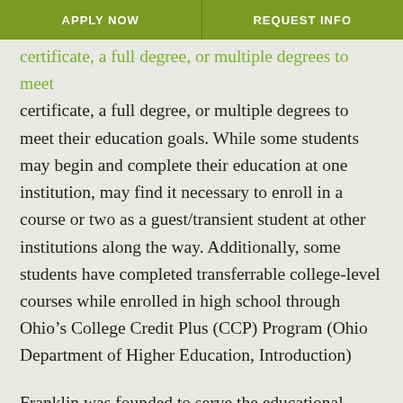APPLY NOW | REQUEST INFO
certificate, a full degree, or multiple degrees to meet their education goals. While some students may begin and complete their education at one institution, may find it necessary to enroll in a course or two as a guest/transient student at other institutions along the way. Additionally, some students have completed transferrable college-level courses while enrolled in high school through Ohio’s College Credit Plus (CCP) Program (Ohio Department of Higher Education, Introduction)
Franklin was founded to serve the educational needs of working adults and has maintained a commitment